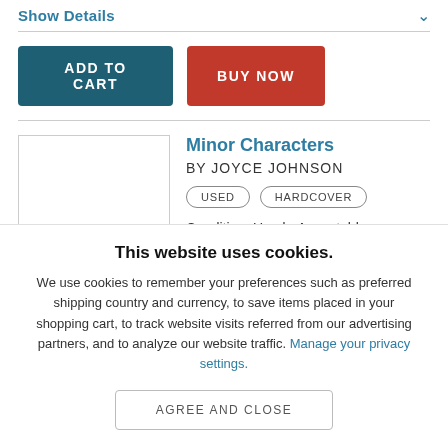Show Details
[Figure (other): ADD TO CART button (dark teal) and BUY NOW button (red)]
[Figure (other): Book listing: Minor Characters by Joyce Johnson, Used Hardcover, Condition: Used - Acceptable, Binding: Hardcover]
This website uses cookies. We use cookies to remember your preferences such as preferred shipping country and currency, to save items placed in your shopping cart, to track website visits referred from our advertising partners, and to analyze our website traffic. Manage your privacy settings.
[Figure (other): AGREE AND CLOSE button]